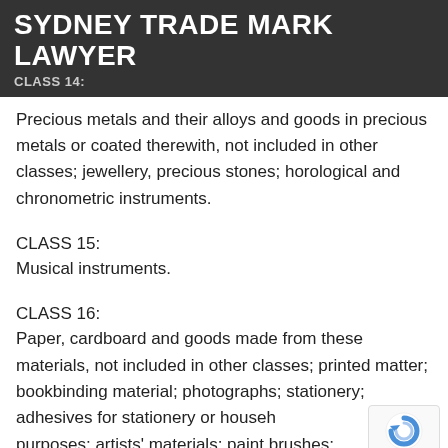SYDNEY TRADE MARK LAWYER
CLASS 14:
Precious metals and their alloys and goods in precious metals or coated therewith, not included in other classes; jewellery, precious stones; horological and chronometric instruments.
CLASS 15:
Musical instruments.
CLASS 16:
Paper, cardboard and goods made from these materials, not included in other classes; printed matter; bookbinding material; photographs; stationery; adhesives for stationery or household purposes; artists' materials; paint brushes; typewriters and office requisites (except